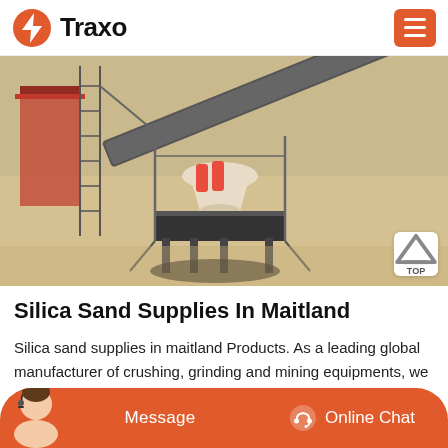Traxo
[Figure (photo): Aerial/overhead view of industrial mining/crushing equipment with conveyor belt, cone crusher, and scaffolding on sandy ground]
Silica Sand Supplies In Maitland
Silica sand supplies in maitland Products. As a leading global manufacturer of crushing, grinding and mining equipments, we offer advanced, reasonable solutions for any size-reduction requirements including. Silica sand supplies in maitland.
Message  Online Chat